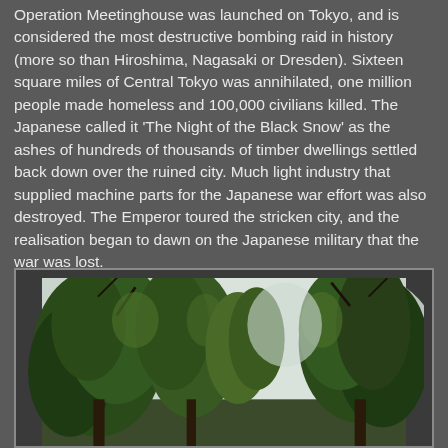Operation Meetinghouse was launched on Tokyo, and is considered the most destructive bombing raid in history (more so than Hiroshima, Nagasaki or Dresden). Sixteen square miles of Central Tokyo was annihilated, one million people made homeless and 100,000 civilians killed. The Japanese called it 'The Night of the Black Snow' as the ashes of hundreds of thousands of timber dwellings settled back down over the ruined city. Much light industry that supplied machine parts for the Japanese war effort was also destroyed. The Emperor toured the stricken city, and the realisation began to dawn on the Japanese military that the war was lost.
[Figure (photo): A photograph showing trees with green foliage against a pale sky, appearing to be taken in a park or garden setting. The image has a natural outdoor scene.]